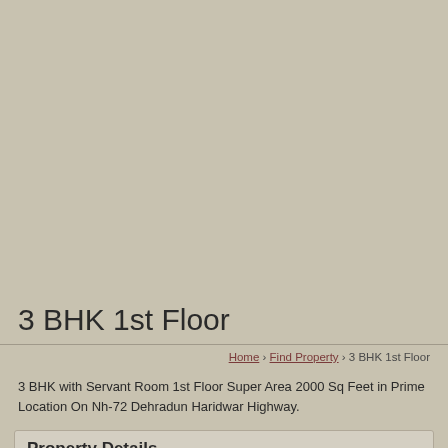[Figure (other): Large gray-beige background area taking up the top portion of the page, likely an image placeholder or advertisement area]
3 BHK 1st Floor
Home › Find Property › 3 BHK 1st Floor
3 BHK with Servant Room 1st Floor Super Area 2000 Sq Feet in Prime Location On Nh-72 Dehradun Haridwar Highway.
Property Details